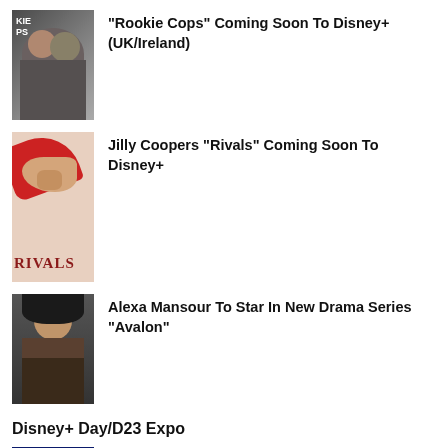[Figure (photo): Thumbnail image for Rookie Cops article showing two people]
“Rookie Cops” Coming Soon To Disney+ (UK/Ireland)
[Figure (photo): Thumbnail image for Rivals article showing red high heel shoe and Rivals logo]
Jilly Coopers “Rivals” Coming Soon To Disney+
[Figure (photo): Thumbnail image for Avalon article showing actress Alexa Mansour]
Alexa Mansour To Star In New Drama Series “Avalon”
Disney+ Day/D23 Expo
[Figure (photo): Thumbnail image for D23 Expo Live Streaming article]
D23 Expo Live Streaming Schedule Released